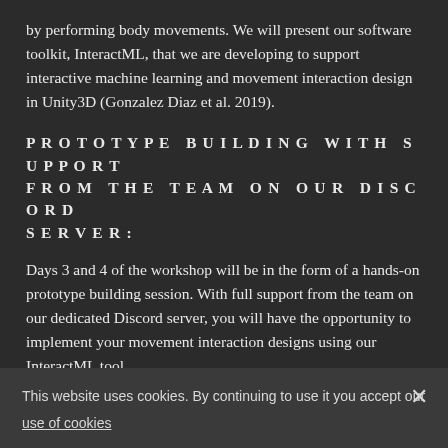by performing body movements. We will present our software toolkit, InteractML, that we are developing to support interactive machine learning and movement interaction design in Unity3D (Gonzalez Diaz et al. 2019).
PROTOTYPE BUILDING WITH SUPPORT FROM THE TEAM ON OUR DISCORD SERVER:
Days 3 and 4 of the workshop will be in the form of a hands-on prototype building session. With full support from the team on our dedicated Discord server, you will have the opportunity to implement your movement interaction designs using our InteractML tool.
This website uses cookies. By continuing to use it you accept our

use of cookies